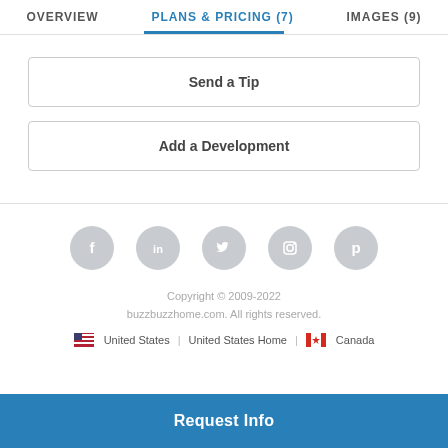OVERVIEW | PLANS & PRICING (7) | IMAGES (9)
Send a Tip
Add a Development
[Figure (infographic): Five circular social media icons in gray: Facebook (f), LinkedIn (in), Twitter bird, Instagram camera, Pinterest (p)]
Copyright © 2009-2022 buzzbuzzhome.com. All rights reserved.
United States | United States Home | Canada
Request Info